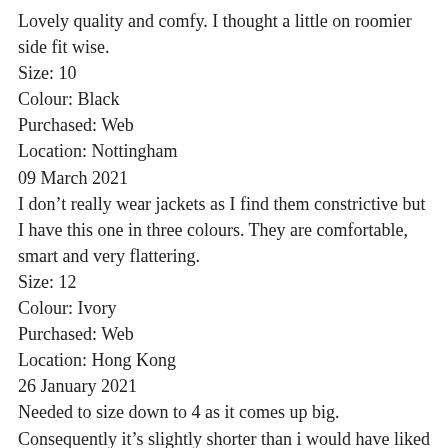Lovely quality and comfy. I thought a little on roomier side fit wise.
Size: 10
Colour: Black
Purchased: Web
Location: Nottingham
09 March 2021
I don’t really wear jackets as I find them constrictive but I have this one in three colours. They are comfortable, smart and very flattering.
Size: 12
Colour: Ivory
Purchased: Web
Location: Hong Kong
26 January 2021
Needed to size down to 4 as it comes up big. Consequently it’s slightly shorter than i would have liked but it’s a lovely, comfortable, versatile jacket
Size: 04
Colour: Oatmeal
Purchased: Web
Location: Bournemouth
01 December 2020
Really cute jacket, great fit and very comfy!
Size: 14